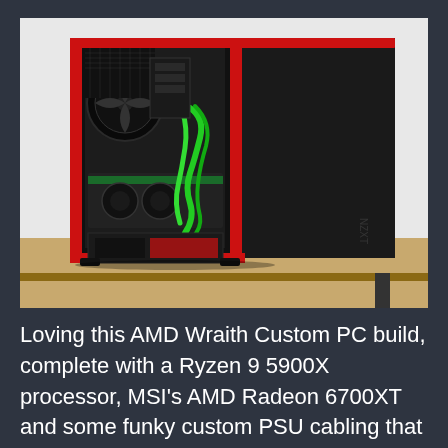[Figure (photo): A custom PC build in a black and red NZXT case with tempered glass side panel, showing internal components including green sleeved cables, fans, MSI AMD Radeon graphics card, and other hardware. The case sits on a wooden desk against a white background.]
Loving this AMD Wraith Custom PC build, complete with a Ryzen 9 5900X processor, MSI's AMD Radeon 6700XT and some funky custom PSU cabling that gives this machine an